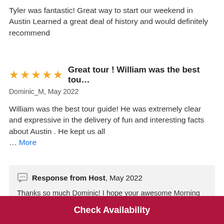Tyler was fantastic! Great way to start our weekend in Austin Learned a great deal of history and would definitely recommend
Great tour ! William was the best tou...
Dominic_M, May 2022
William was the best tour guide! He was extremely clear and expressive in the delivery of fun and interesting facts about Austin . He kept us all ... More
Response from Host, May 2022
Thanks so much Dominic! I hope your awesome Morning Walk Austin tour with
Check Availability